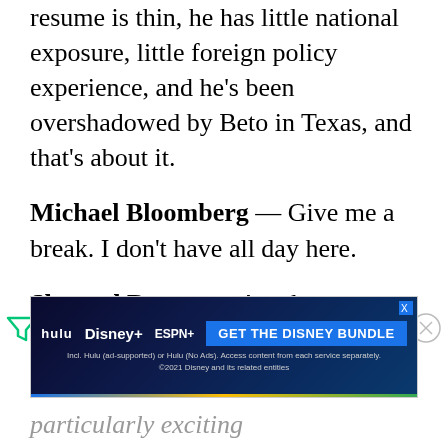resume is thin, he has little national exposure, little foreign policy experience, and he's been overshadowed by Beto in Texas, and that's about it.
Michael Bloomberg — Give me a break. I don't have all day here.
Sherrod Brown — Another guy with no big red flags. He's not
[Figure (other): Disney Bundle advertisement banner with Hulu, Disney+, ESPN+ logos and 'GET THE DISNEY BUNDLE' call to action button]
particularly exciting